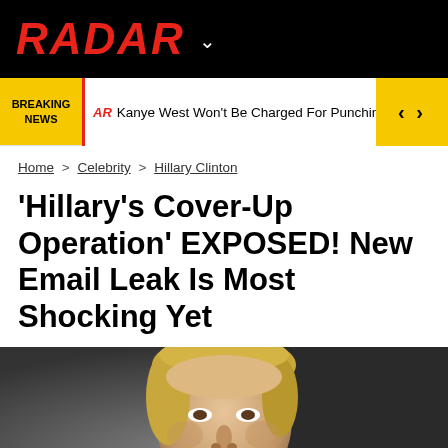RADAR
BREAKING NEWS | AR Kanye West Won't Be Charged For Punching Fan
Home > Celebrity > Hillary Clinton
'Hillary's Cover-Up Operation' EXPOSED! New Email Leak Is Most Shocking Yet
[Figure (photo): Close-up photograph of Hillary Clinton looking upward, blonde hair, against a dark grey background]